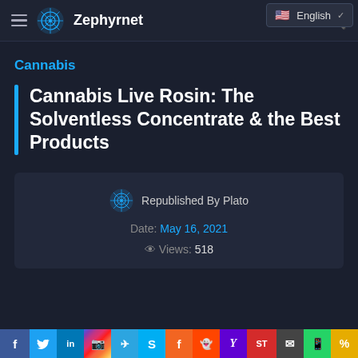Zephyrnet
Cannabis
Cannabis Live Rosin: The Solventless Concentrate & the Best Products
Republished By Plato
Date: May 16, 2021
Views: 518
f  in  (instagram)  (telegram)  S  f  (reddit)  Y  ST  (mail)  (whatsapp)  %